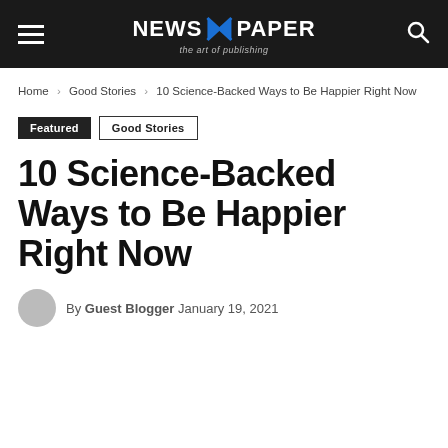NEWS X PAPER — the art of publishing
Home › Good Stories › 10 Science-Backed Ways to Be Happier Right Now
Featured  Good Stories
10 Science-Backed Ways to Be Happier Right Now
By Guest Blogger January 19, 2021